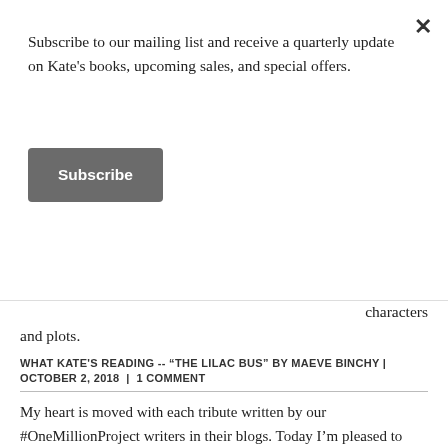Subscribe to our mailing list and receive a quarterly update on Kate's books, upcoming sales, and special offers.
Subscribe
characters and plots.
WHAT KATE'S READING -- “THE LILAC BUS” BY MAEVE BINCHY | OCTOBER 2, 2018 | 1 COMMENT
My heart is moved with each tribute written by our #OneMillionProject writers in their blogs. Today I’m pleased to post Aussie writer, Christine Larsen’s newest offering.
theonemillionproject
My family history reveals quite a few deaths by